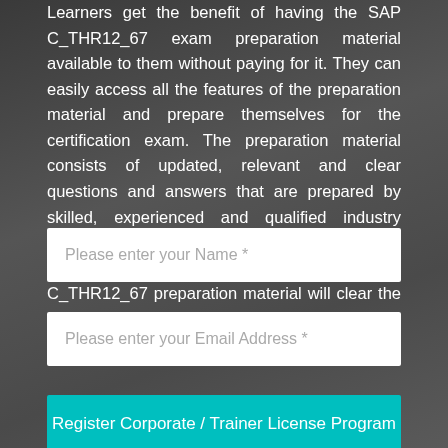Learners get the benefit of having the SAP C_THR12_67 exam preparation material available to them without paying for it. They can easily access all the features of the preparation material and prepare themselves for the certification exam. The preparation material consists of updated, relevant and clear questions and answers that are prepared by skilled, experienced and qualified industry professionals. CertsTraining also provide 100% guarantee that all the users of our SAP C_THR12_67 preparation material will clear the exam in first try.
[Figure (other): Text input field with placeholder: Please enter your Name *]
[Figure (other): Text input field with placeholder: Please enter your Email Address *]
[Figure (other): Teal button with text: Register Corporate / Trainer License Program]